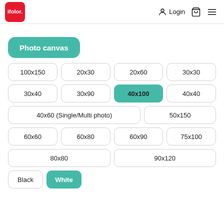ifolor. Login (cart icon) (menu icon)
Photo canvas
100x150
20x30
20x60
30x30
30x40
30x90
40x100 (active/selected)
40x40
40x60 (Single/Multi photo)
50x150
60x60
60x80
60x90
75x100
80x80
90x120
Black
White (active/selected)